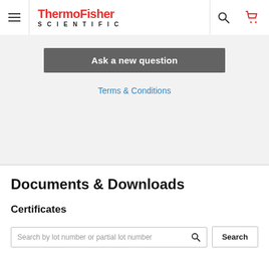[Figure (screenshot): ThermoFisher Scientific navigation bar with hamburger menu icon, ThermoFisher Scientific logo in red and black, search icon, and red cart icon]
Ask a new question
Terms & Conditions
Documents & Downloads
Certificates
Search by lot number or partial lot number